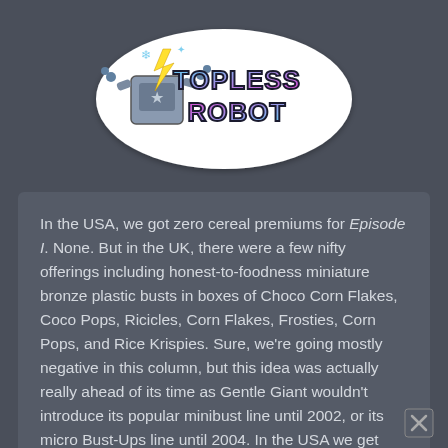[Figure (logo): Topless Robot logo featuring a cartoon robot character with lightning bolt and the stylized text 'TOPLESS ROBOT' in pink/cyan gradient lettering on a white sticker-style badge]
In the USA, we got zero cereal premiums for Episode I. None. But in the UK, there were a few nifty offerings including honest-to-foodness miniature bronze plastic busts in boxes of Choco Corn Flakes, Coco Pops, Ricicles, Corn Flakes, Frosties, Corn Pops, and Rice Krispies. Sure, we're going mostly negative in this column, but this idea was actually really ahead of its time as Gentle Giant wouldn't introduce its popular minibust line until 2002, or its micro Bust-Ups line until 2004. In the USA we get stuff like glowing spoons or mail-in offers